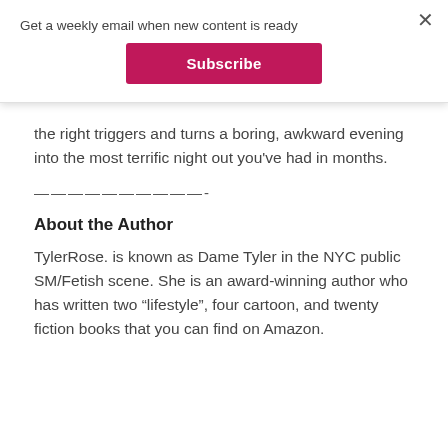Get a weekly email when new content is ready
Subscribe
the right triggers and turns a boring, awkward evening into the most terrific night out you've had in months.
——————————-
About the Author
TylerRose. is known as Dame Tyler in the NYC public SM/Fetish scene. She is an award-winning author who has written two “lifestyle”, four cartoon, and twenty fiction books that you can find on Amazon.